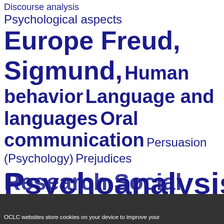[Figure (other): Tag cloud of library/psychology subject headings in dark navy blue on white background. Terms shown at varying font sizes indicating frequency/importance: 'Discourse analysis' (medium), 'Psychological aspects' (medium), 'Europe' (very large bold), 'Freud, Sigmund,' (very large bold), 'Human behavior' (large), 'Language and languages' (large), 'Oral communication' (large), 'Persuasion (Psychology)' (medium-large), 'Prejudices' (medium-large), 'Psychoanalysis' (very large bold), 'Psychoanalysts' (very large bold), 'Psychobiology' (very large bold), 'Psychophysiology' (very large bold), 'Research' (large bold, partially visible), 'Social' (large bold, partially visible).]
OCLC websites store cookies on your device to improve your